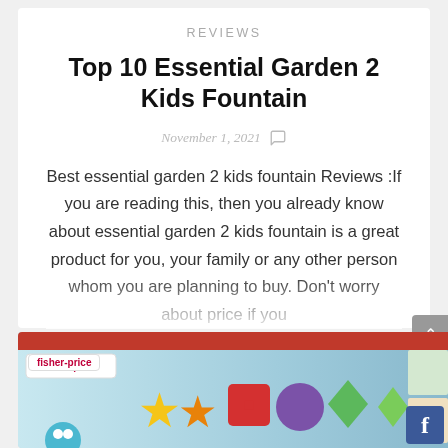REVIEWS
Top 10 Essential Garden 2 Kids Fountain
November 1, 2021
Best essential garden 2 kids fountain Reviews :If you are reading this, then you already know about essential garden 2 kids fountain is a great product for you, your family or any other person whom you are planning to buy. Don't worry about price if you
READ MORE +
[Figure (photo): Fisher-Price product box showing colorful toy shapes including stars, squares, circles, and diamonds in yellow, orange, red, and green colors, with baby lifestyle photos on the right side.]